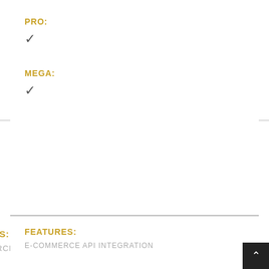PRO:
✓
MEGA:
✓
FEATURES:
E-COMMERCE API INTEGRATION
BASIC:
STANDARD:
PRO:
MEGA:
✓